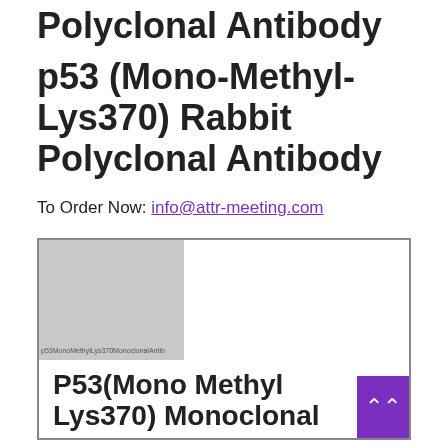Polyclonal Antibody
p53 (Mono-Methyl-Lys370) Rabbit Polyclonal Antibody
To Order Now: info@attr-meeting.com
[Figure (screenshot): Product card showing an image placeholder with text 'p53MonoMethylLys370MonoclonalAntib...' on gray background, and below it the beginning of a title 'P53(Mono Methyl Lys370) Monoclonal' with a purple scroll-up button on the bottom right corner.]